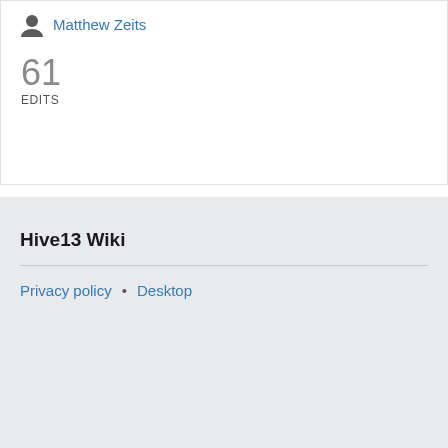Matthew Zeits
61
EDITS
Hive13 Wiki
Privacy policy • Desktop